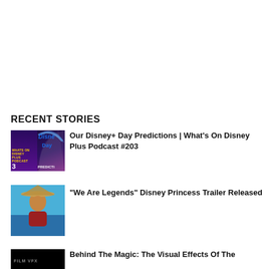RECENT STORIES
[Figure (photo): Disney+ Day Predictions podcast cover thumbnail with dark purple background and Disney logo]
Our Disney+ Day Predictions | What's On Disney Plus Podcast #203
[Figure (photo): Disney Princess character (Raya) with straw hat against blue background]
“We Are Legends” Disney Princess Trailer Released
[Figure (photo): Behind The Magic visual effects thumbnail with dark background]
Behind The Magic: The Visual Effects Of The